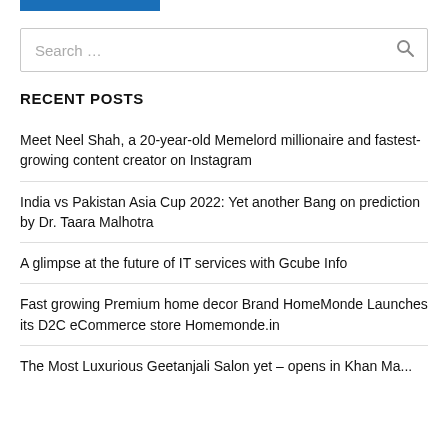[Figure (other): Blue horizontal bar/banner at top]
Search ...
RECENT POSTS
Meet Neel Shah, a 20-year-old Memelord millionaire and fastest-growing content creator on Instagram
India vs Pakistan Asia Cup 2022: Yet another Bang on prediction by Dr. Taara Malhotra
A glimpse at the future of IT services with Gcube Info
Fast growing Premium home decor Brand HomeMonde Launches its D2C eCommerce store Homemonde.in
The Most Luxurious Geetanjali Salon yet – opens in Khan Ma...